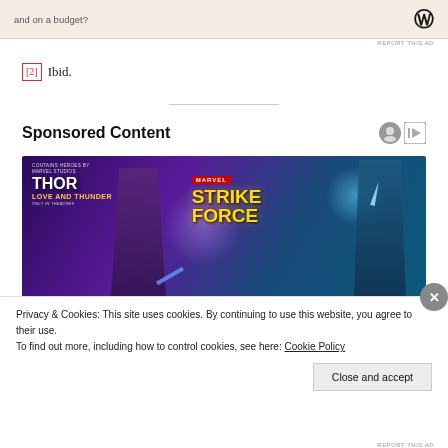[Figure (other): WordPress ad banner with text 'and on a budget?' and WordPress logo]
[2] Ibid.
Sponsored Content
[Figure (illustration): Marvel Strike Force advertisement featuring Thor: Love and Thunder characters — two warriors against purple and teal gradient background with Thor and Strike Force logos]
Privacy & Cookies: This site uses cookies. By continuing to use this website, you agree to their use.
To find out more, including how to control cookies, see here: Cookie Policy
Close and accept